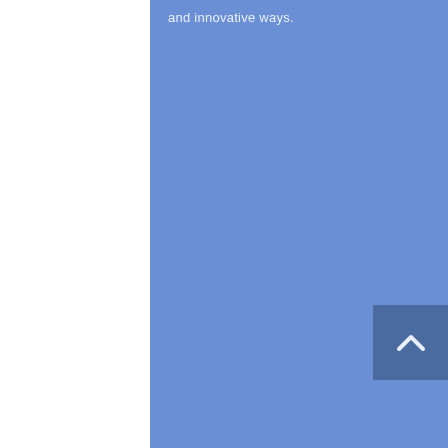and innovative ways.
[Figure (other): A scroll-to-top navigation button with an upward-pointing chevron arrow on a dark blue square background, positioned at the bottom-right of the blue panel.]